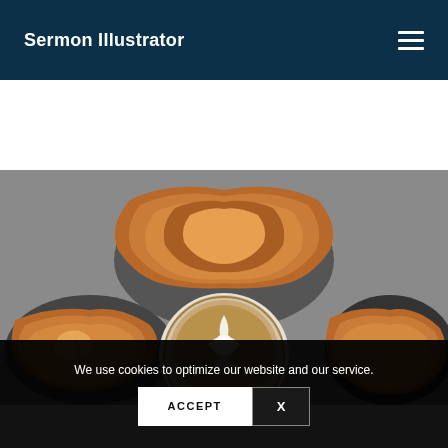Sermon Illustrator
[Figure (photo): Overhead view of golden-brown croissants and pastries on dark plates, with a latte art coffee cup in the center on a gray surface]
We use cookies to optimize our website and our service.
ACCEPT  X